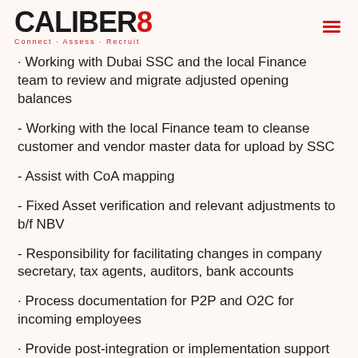CALIBER8 Connect · Assess · Recruit
· Working with Dubai SSC and the local Finance team to review and migrate adjusted opening balances
- Working with the local Finance team to cleanse customer and vendor master data for upload by SSC
- Assist with CoA mapping
- Fixed Asset verification and relevant adjustments to b/f NBV
- Responsibility for facilitating changes in company secretary, tax agents, auditors, bank accounts
· Process documentation for P2P and O2C for incoming employees
· Provide post-integration or implementation support